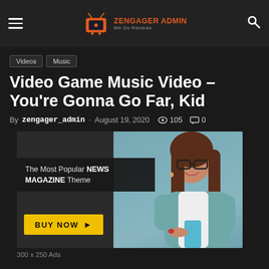Zengager Admin – We Do Reviews
Videos
Music
Video Game Music Video – You're Gonna Go Far, Kid
By zengager_admin - August 19, 2020   105   0
[Figure (photo): Advertisement banner showing a woman in a teal cardigan smiling and looking at her phone, with overlay text 'The Most Popular NEWS MAGAZINE Theme' and a yellow BUY NOW button]
300 x 250 Ads